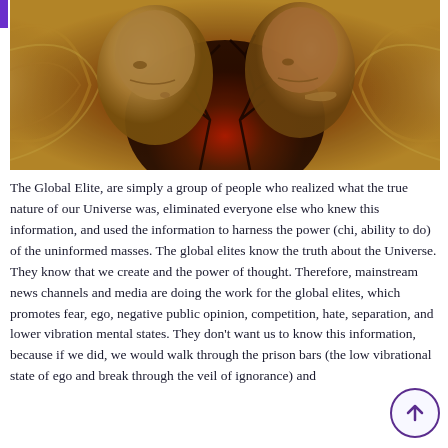[Figure (illustration): Artistic digital composite image of two face sculptures (one facing left, one facing right) against a dramatic background of swirling golden/amber patterns, bare dark tree branches, and a deep red/orange central glow resembling a sunset or cosmic scene.]
The Global Elite, are simply a group of people who realized what the true nature of our Universe was, eliminated everyone else who knew this information, and used the information to harness the power (chi, ability to do) of the uninformed masses. The global elites know the truth about the Universe. They know that we create and the power of thought. Therefore, mainstream news channels and media are doing the work for the global elites, which promotes fear, ego, negative public opinion, competition, hate, separation, and lower vibration mental states. They don't want us to know this information, because if we did, we would walk through the prison bars (the low vibrational state of ego and break through the veil of ignorance) and